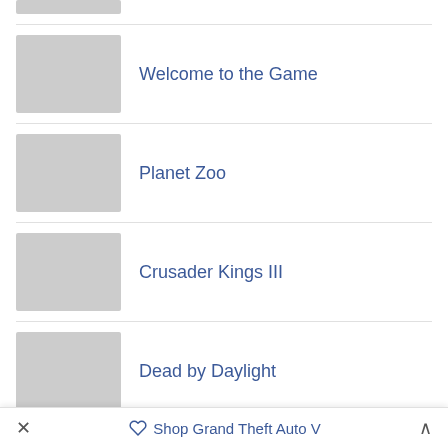Welcome to the Game
Planet Zoo
Crusader Kings III
Dead by Daylight
Grounded
Cities: Skylines
Shop Grand Theft Auto V